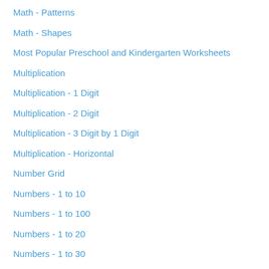Math - Patterns
Math - Shapes
Most Popular Preschool and Kindergarten Worksheets
Multiplication
Multiplication - 1 Digit
Multiplication - 2 Digit
Multiplication - 3 Digit by 1 Digit
Multiplication - Horizontal
Number Grid
Numbers - 1 to 10
Numbers - 1 to 100
Numbers - 1 to 20
Numbers - 1 to 30